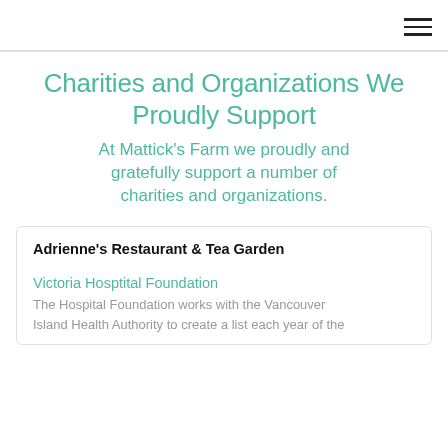Charities and Organizations We Proudly Support
At Mattick's Farm we proudly and gratefully support a number of charities and organizations.
Adrienne's Restaurant & Tea Garden
Victoria Hosptital Foundation
The Hospital Foundation works with the Vancouver Island Health Authority to create a list each year of the